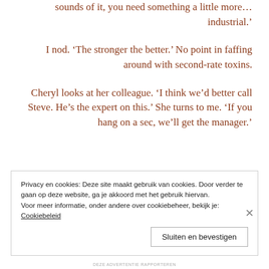sounds of it, you need something a little more… industrial.'
I nod. 'The stronger the better.' No point in faffing around with second-rate toxins.
Cheryl looks at her colleague. 'I think we'd better call Steve. He's the expert on this.' She turns to me. 'If you hang on a sec, we'll get the manager.'
Privacy en cookies: Deze site maakt gebruik van cookies. Door verder te gaan op deze website, ga je akkoord met het gebruik hiervan. Voor meer informatie, onder andere over cookiebeheer, bekijk je: Cookiebeleid
Sluiten en bevestigen